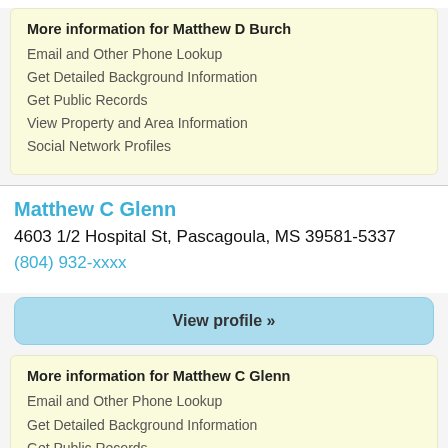More information for Matthew D Burch
Email and Other Phone Lookup
Get Detailed Background Information
Get Public Records
View Property and Area Information
Social Network Profiles
Matthew C Glenn
4603 1/2 Hospital St, Pascagoula, MS 39581-5337
(804) 932-xxxx
View profile »
More information for Matthew C Glenn
Email and Other Phone Lookup
Get Detailed Background Information
Get Public Records